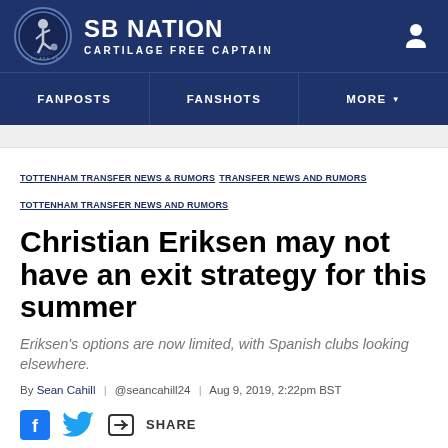SB NATION | CARTILAGE FREE CAPTAIN
FANPOSTS | FANSHOTS | MORE
TOTTENHAM TRANSFER NEWS & RUMORS  TRANSFER NEWS AND RUMORS  TOTTENHAM TRANSFER NEWS AND RUMORS
Christian Eriksen may not have an exit strategy for this summer
Eriksen's options are now limited, with Spanish clubs looking elsewhere.
By Sean Cahill | @seancahill24 | Aug 9, 2019, 2:22pm BST
SHARE